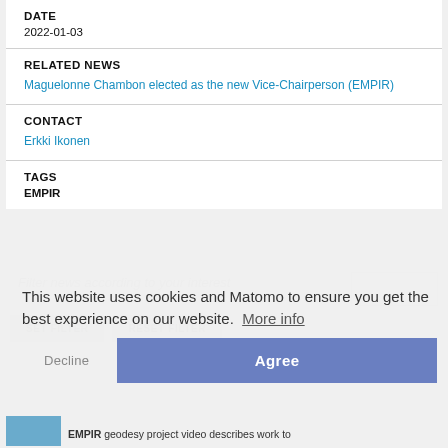DATE
2022-01-03
RELATED NEWS
Maguelonne Chambon elected as the new Vice-Chairperson (EMPIR)
CONTACT
Erkki Ikonen
TAGS
EMPIR
Filter news according to your interest
This website uses cookies and Matomo to ensure you get the best experience on our website.  More info
Decline  Agree
EMPIR geodesy project video describes work to